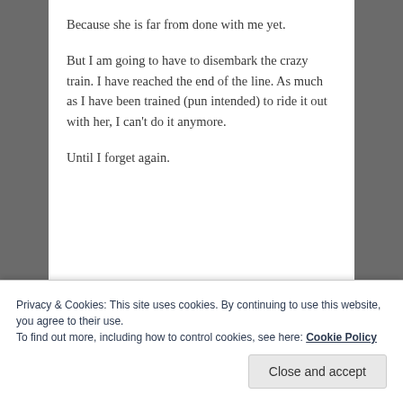Because she is far from done with me yet.
But I am going to have to disembark the crazy train. I have reached the end of the line. As much as I have been trained (pun intended) to ride it out with her, I can't do it anymore.
Until I forget again.
Privacy & Cookies: This site uses cookies. By continuing to use this website, you agree to their use.
To find out more, including how to control cookies, see here: Cookie Policy
Close and accept